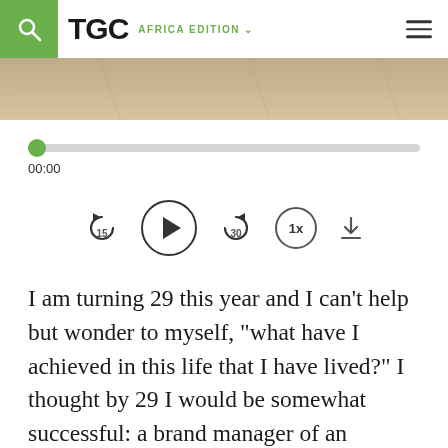TGC AFRICA EDITION
[Figure (screenshot): Partial image of a wooden/outdoor scene at the top of the article]
[Figure (infographic): Audio player UI with progress bar at 00:00, skip back 15s, play button, skip forward 30s, 1x speed, and download controls]
I am turning 29 this year and I can't help but wonder to myself, “what have I achieved in this life that I have lived?” I thought by 29 I would be somewhat successful: a brand manager of an internationally acclaimed company; married with 3 children, living in a modest mansion in an estate; and driving a